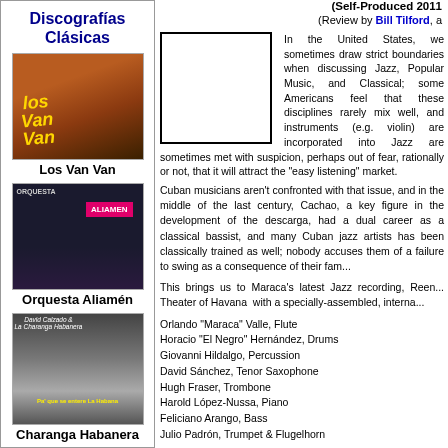Discografías Clásicas
[Figure (photo): Album cover for Los Van Van]
Los Van Van
[Figure (photo): Album cover for Orquesta Aliamén]
Orquesta Aliamén
[Figure (photo): Album cover for Charanga Habanera]
Charanga Habanera
(Self-Produced 2011
(Review by Bill Tilford, a
[Figure (photo): Album cover placeholder image (white box with black border)]
In the United States, we sometimes draw strict boundaries when discussing Jazz, Popular Music, and Classical; some Americans feel that these disciplines rarely mix well, and instruments (e.g. violin) are incorporated into Jazz are sometimes met with suspicion, perhaps out of fear, rationally or not, that it will attract the "easy listening" market.
Cuban musicians aren't confronted with that issue, and in the middle of the last century, Cachao, a key figure in the development of the descarga, had a dual career as a classical bassist, and many Cuban jazz artists has been classically trained as well; nobody accuses them of a failure to swing as a consequence of their familiarity with it.
This brings us to Maraca's latest Jazz recording, Reenc... Theater of Havana with a specially-assembled, interna...
Orlando "Maraca" Valle, Flute
Horacio "El Negro" Hernández, Drums
Giovanni Hildalgo, Percussion
David Sánchez, Tenor Saxophone
Hugh Fraser, Trombone
Harold López-Nussa, Piano
Feliciano Arango, Bass
Julio Padrón, Trumpet & Flugelhorn